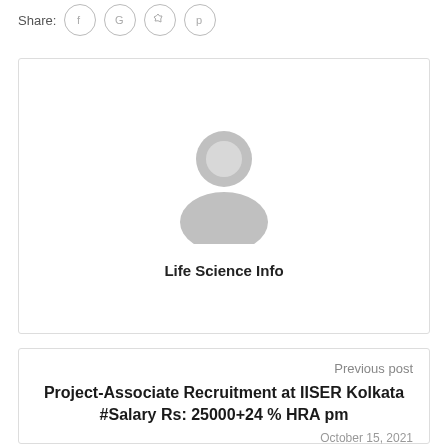Share:
[Figure (illustration): Share icons: Facebook (f), Google (G), Twitter (bird), Pinterest (p) — each in a circular border]
[Figure (photo): Generic user avatar placeholder — grey silhouette of a person on white background, inside a bordered card]
Life Science Info
Previous post
Project-Associate Recruitment at IISER Kolkata #Salary Rs: 25000+24 % HRA pm
October 15, 2021